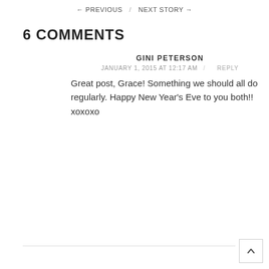← PREVIOUS / NEXT STORY →
6 COMMENTS
GINI PETERSON
JANUARY 1, 2015 AT 12:17 AM / REPLY
Great post, Grace! Something we should all do regularly. Happy New Year's Eve to you both!!
xoxoxo